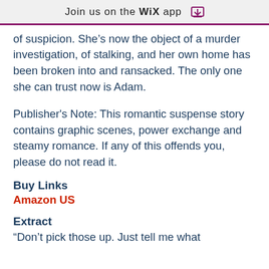Join us on the WiX app ⬇
of suspicion. She’s now the object of a murder investigation, of stalking, and her own home has been broken into and ransacked. The only one she can trust now is Adam.
Publisher's Note: This romantic suspense story contains graphic scenes, power exchange and steamy romance. If any of this offends you, please do not read it.
Buy Links
Amazon US
Extract
“Don’t pick those up. Just tell me what